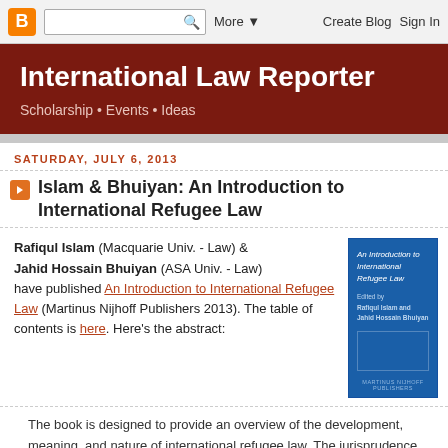International Law Reporter — Blogger navigation bar
International Law Reporter
Scholarship • Events • Ideas
SATURDAY, JULY 6, 2013
Islam & Bhuiyan: An Introduction to International Refugee Law
Rafiqul Islam (Macquarie Univ. - Law) & Jahid Hossain Bhuiyan (ASA Univ. - Law) have published An Introduction to International Refugee Law (Martinus Nijhoff Publishers 2013). The table of contents is here. Here's the abstract:
[Figure (illustration): Book cover of 'An Introduction to International Refugee Law' edited by Rafiqul Islam and Jahid Hossain Bhuiyan, Martinus Nijhoff Publishers, blue cover]
The book is designed to provide an overview of the development, meaning, and nature of international refugee law. The jurisprudence on the status of refugees,